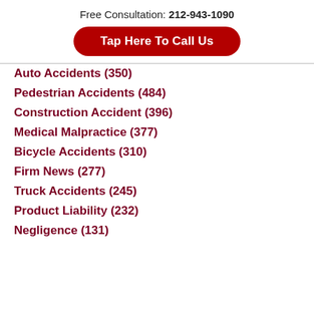Free Consultation: 212-943-1090
Tap Here To Call Us
Auto Accidents (350)
Pedestrian Accidents (484)
Construction Accident (396)
Medical Malpractice (377)
Bicycle Accidents (310)
Firm News (277)
Truck Accidents (245)
Product Liability (232)
Negligence (131)